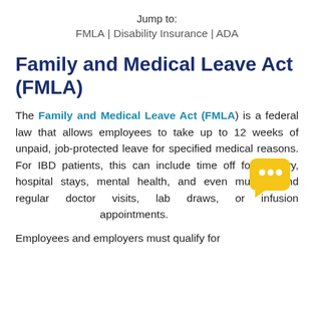Jump to:
FMLA | Disability Insurance | ADA
Family and Medical Leave Act (FMLA)
The Family and Medical Leave Act (FMLA) is a federal law that allows employees to take up to 12 weeks of unpaid, job-protected leave for specified medical reasons. For IBD patients, this can include time off for surgery, hospital stays, mental health, and even multiple and regular doctor visits, lab draws, or infusion appointments.
Employees and employers must qualify for